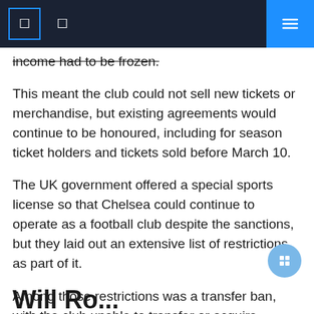Navigation bar with menu icons and search button
income had to be frozen.
This meant the club could not sell new tickets or merchandise, but existing agreements would continue to be honoured, including for season ticket holders and tickets sold before March 10.
The UK government offered a special sports license so that Chelsea could continue to operate as a football club despite the sanctions, but they laid out an extensive list of restrictions as part of it.
Among those restrictions was a transfer ban, with the club unable to transfer or acquire players. Additionally, travel expenses for football games have been capped at $26,000 per game.
Will Ro...